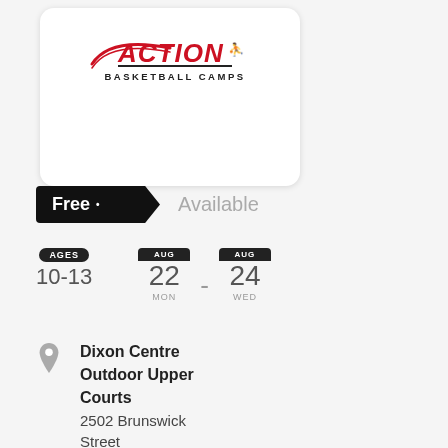[Figure (logo): Action Basketball Camps logo with red italic ACTION text and basketball icon]
Free • Available
AGES 10-13  AUG 22 MON - AUG 24 WED
Dixon Centre Outdoor Upper Courts
2502 Brunswick Street
Halifax, NS B3K 2Z6